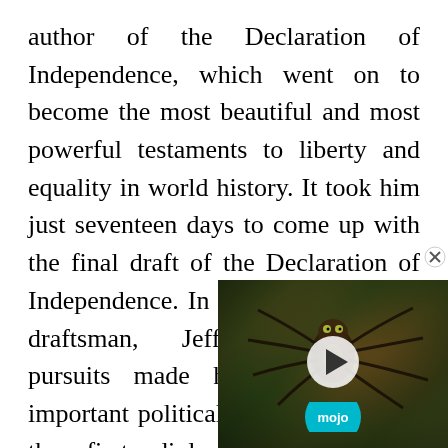author of the Declaration of Independence, which went on to become the most beautiful and most powerful testaments to liberty and equality in world history. It took him just seventeen days to come up with the final draft of the Declaration of Independence. In addition to being a draftsman, Jefferson's political pursuits made him hold several important political positions. He was the first diplomat abroad, first Secretary of State, second Vice President of America under John Adams and third President of United States of America. A proponent of democracy individual rights, he motivat break free from Great Britai Jeffered even authored th
[Figure (photo): A close-up photo of a spider on a green plant, with a video player overlay showing a play button in the center and a 'mojo' branded logo badge at the bottom center. A close (X) button appears in the top-right corner of the overlay.]